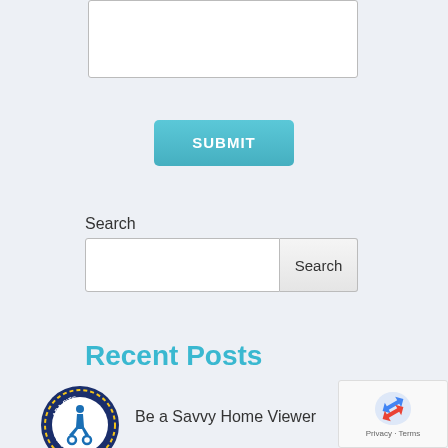[Figure (screenshot): Textarea input box (partially visible at top of page)]
[Figure (screenshot): Submit button with teal/cyan gradient background and white bold text reading SUBMIT]
Search
[Figure (screenshot): Search input field with Search button]
Recent Posts
Be a Savvy Home Viewer
[Figure (logo): ADA Site Compliance badge - circular seal with wheelchair accessibility symbol]
[Figure (screenshot): reCAPTCHA widget with Google logo and Privacy - Terms text]